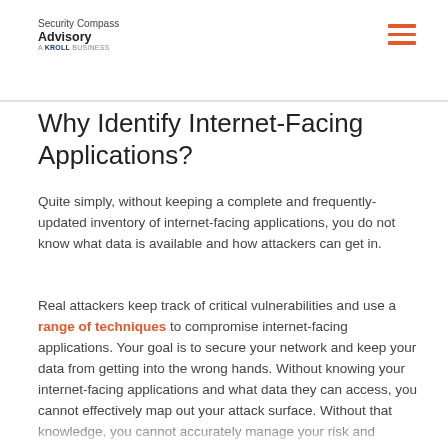Security Compass Advisory A KROLL BUSINESS
Why Identify Internet-Facing Applications?
Quite simply, without keeping a complete and frequently-updated inventory of internet-facing applications, you do not know what data is available and how attackers can get in.
Real attackers keep track of critical vulnerabilities and use a range of techniques to compromise internet-facing applications. Your goal is to secure your network and keep your data from getting into the wrong hands. Without knowing your internet-facing applications and what data they can access, you cannot effectively map out your attack surface. Without that knowledge, you cannot accurately manage your risk and secure your business.